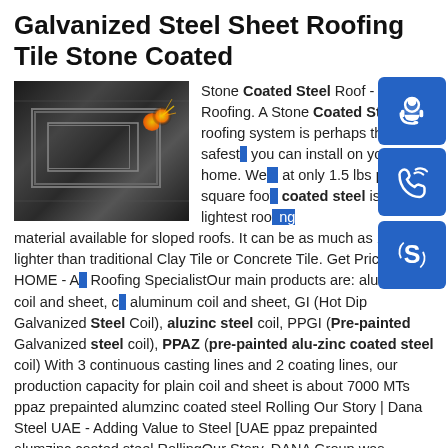Galvanized Steel Sheet Roofing Tile Stone Coated
[Figure (photo): Photo of galvanized steel sheet being processed with a laser/torch, showing CNC cutting machine producing sparks on a dark steel plate with rectangular scored lines.]
Stone Coated Steel Roof - Modern Roofing. A Stone Coated Steel roofing system is perhaps the safest roof you can install on your home. Weighing at only 1.5 lbs per square foot, stone coated steel is the lightest roofing material available for sloped roofs. It can be as much as 10x lighter than traditional Clay Tile or Concrete Tile. Get Price HOME - A Roofing SpecialistOur main products are: aluminum coil and sheet, color coated aluminum coil and sheet, GI (Hot Dip Galvanized Steel Coil), aluzinc steel coil, PPGI (Pre-painted Galvanized steel coil), PPAZ (pre-painted alu-zinc coated steel coil) With 3 continuous casting lines and 2 coating lines, our production capacity for plain coil and sheet is about 7000 MTs ppaz prepainted alumzinc coated steel Rolling Our Story | Dana Steel UAE - Adding Value to Steel [UAE ppaz prepainted alumzinc coated steel RollingOur Story. DANA Group was founded in the year 1991 by Dr.Birbal Singh Dana The operations were started